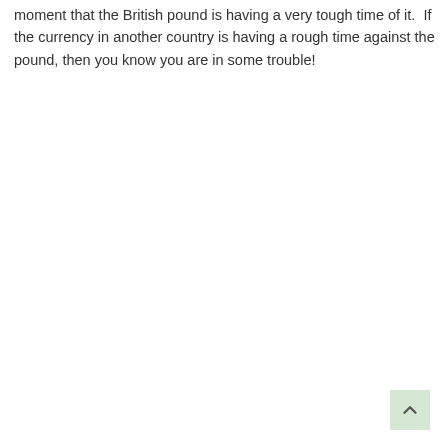moment that the British pound is having a very tough time of it.  If the currency in another country is having a rough time against the pound, then you know you are in some trouble!